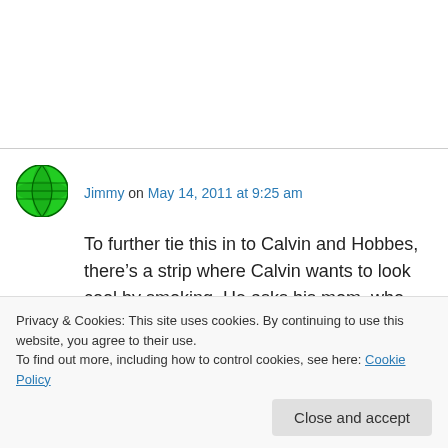[Figure (illustration): Green globe avatar icon for user Jimmy]
Jimmy on May 14, 2011 at 9:25 am
To further tie this in to Calvin and Hobbes, there's a strip where Calvin wants to look cool by smoking. He asks his mom, who says yes.
He gags and chokes and ends with the line, “Trusting parents can be hazardous to your health.”
Privacy & Cookies: This site uses cookies. By continuing to use this website, you agree to their use.
To find out more, including how to control cookies, see here: Cookie Policy